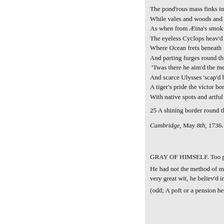The pond'rous mass finks in
While vales and woods and
As when from Ætna's smok
The eyeless Cyclops heav'd
Where Ocean frets beneath
And parting furges round th
 'Twas there he aim'd the me
And scarce Ulysses 'scap'd b
A tiger's pride the victor bor
With native spots and artful
25 A shining border round the
Cambridge, May 8th, 1736.
GRAY OF HIMSELF. Too poo
He had not the method of mak
very great wit, he believ'd in a G
(odd; A poft or a pension he di